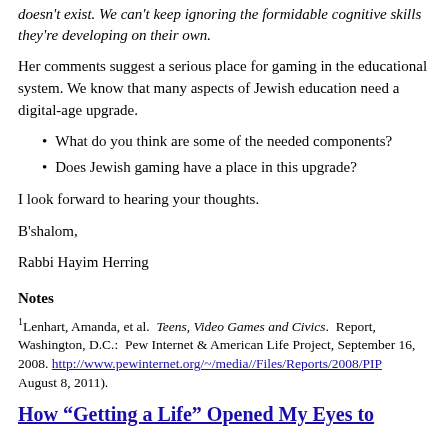doesn't exist. We can't keep ignoring the formidable cognitive skills they're developing on their own.
Her comments suggest a serious place for gaming in the educational system. We know that many aspects of Jewish education need a digital-age upgrade.
What do you think are some of the needed components?
Does Jewish gaming have a place in this upgrade?
I look forward to hearing your thoughts.
B'shalom,
Rabbi Hayim Herring
Notes
1Lenhart, Amanda, et al.  Teens, Video Games and Civics.  Report, Washington, D.C.:  Pew Internet & American Life Project, September 16, 2008. http://www.pewinternet.org/~/media//Files/Reports/2008/PIP  August 8, 2011).
How “Getting a Life” Opened My Eyes to